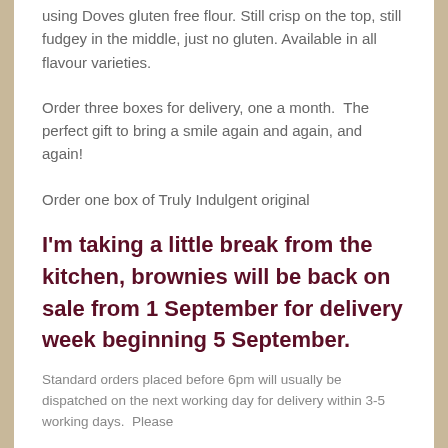using Doves gluten free flour. Still crisp on the top, still fudgey in the middle, just no gluten. Available in all flavour varieties.
Order three boxes for delivery, one a month. The perfect gift to bring a smile again and again, and again!
Order one box of Truly Indulgent original
I'm taking a little break from the kitchen, brownies will be back on sale from 1 September for delivery week beginning 5 September.
Standard orders placed before 6pm will usually be dispatched on the next working day for delivery within 3-5 working days. Please